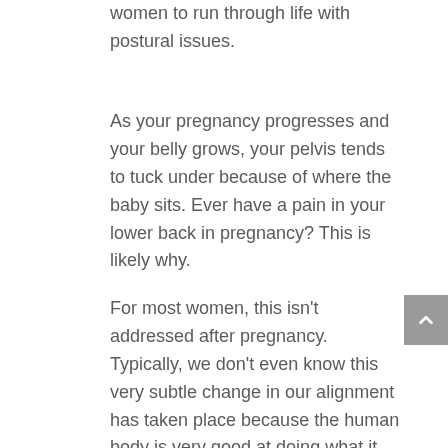women to run through life with postural issues.
As your pregnancy progresses and your belly grows, your pelvis tends to tuck under because of where the baby sits. Ever have a pain in your lower back in pregnancy? This is likely why.
For most women, this isn't addressed after pregnancy. Typically, we don't even know this very subtle change in our alignment has taken place because the human body is very good at doing what it needs to keep you moving.